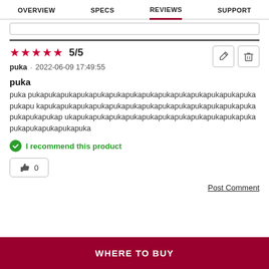OVERVIEW  SPECS  REVIEWS  SUPPORT
5/5 — puka · 2022-06-09 17:49:55
puka
puka pukapukapukapukapukapukapukapukapukapukapukapukapukapukapukapu kapukapukapukapukapukapukapukapukapukapukapukapukapukapukapukapukap ukapukapukapukapukapukapukapukapukapukapukapukapukapukapukapukapuka
I recommend this product
0
Post Comment
WHERE TO BUY